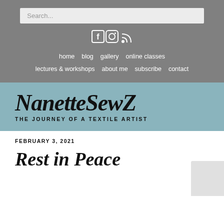Search...
[Figure (other): Social media icons: Facebook, Instagram, RSS feed]
home  blog  gallery  online classes  lectures & workshops  about me  subscribe  contact
NanetteSewZ
THE JOURNEY OF A TEXTILE ARTIST
FEBRUARY 3, 2021
Rest in Peace